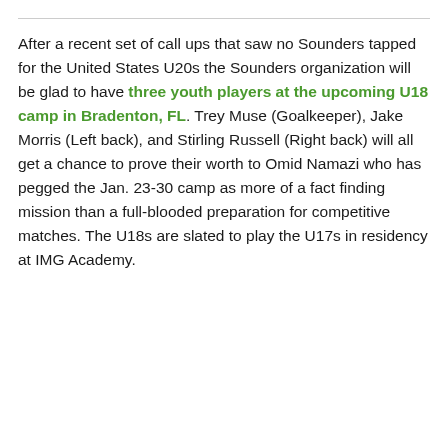After a recent set of call ups that saw no Sounders tapped for the United States U20s the Sounders organization will be glad to have three youth players at the upcoming U18 camp in Bradenton, FL. Trey Muse (Goalkeeper), Jake Morris (Left back), and Stirling Russell (Right back) will all get a chance to prove their worth to Omid Namazi who has pegged the Jan. 23-30 camp as more of a fact finding mission than a full-blooded preparation for competitive matches. The U18s are slated to play the U17s in residency at IMG Academy.